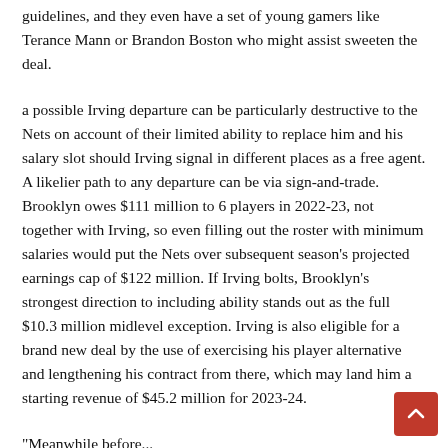guidelines, and they even have a set of young gamers like Terance Mann or Brandon Boston who might assist sweeten the deal.
a possible Irving departure can be particularly destructive to the Nets on account of their limited ability to replace him and his salary slot should Irving signal in different places as a free agent. A likelier path to any departure can be via sign-and-trade. Brooklyn owes $111 million to 6 players in 2022-23, not together with Irving, so even filling out the roster with minimum salaries would put the Nets over subsequent season's projected earnings cap of $122 million. If Irving bolts, Brooklyn's strongest direction to including ability stands out as the full $10.3 million midlevel exception. Irving is also eligible for a brand new deal by the use of exercising his player alternative and lengthening his contract from there, which may land him a starting revenue of $45.2 million for 2023-24.
"Meanwhile before...